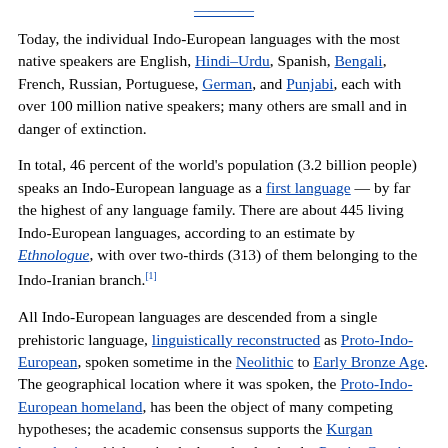Today, the individual Indo-European languages with the most native speakers are English, Hindi–Urdu, Spanish, Bengali, French, Russian, Portuguese, German, and Punjabi, each with over 100 million native speakers; many others are small and in danger of extinction.
In total, 46 percent of the world's population (3.2 billion people) speaks an Indo-European language as a first language — by far the highest of any language family. There are about 445 living Indo-European languages, according to an estimate by Ethnologue, with over two-thirds (313) of them belonging to the Indo-Iranian branch.[1]
All Indo-European languages are descended from a single prehistoric language, linguistically reconstructed as Proto-Indo-European, spoken sometime in the Neolithic to Early Bronze Age. The geographical location where it was spoken, the Proto-Indo-European homeland, has been the object of many competing hypotheses; the academic consensus supports the Kurgan hypothesis, which posits the homeland to be the Pontic–Caspian steppe in what is now Ukraine and southern Russia, associated with the Yamnaya culture and other related archaeological cultures during the 4th millennium BC to early 3rd millennium BC. By the time the first written records appeared, Indo-European had already